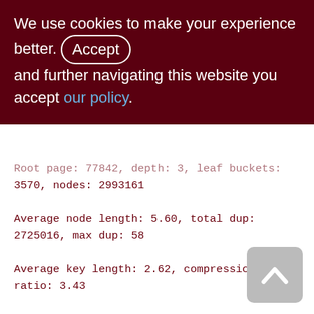We use cookies to make your experience better. By accepting and further navigating this website you accept our policy.
Root page: 77842, depth: 3, leaf buckets: 3570, nodes: 2993161
Average node length: 5.60, total dup: 2725016, max dup: 58
Average key length: 2.62, compression ratio: 3.43
Average prefix length: 8.47, average data length: 0.53
Clustering factor: 601287, ratio: 0.20
Fill distribution:
0 - 19% = 10
20 - 39% = 301
40 - 59% = 1935
[Figure (other): Back to top button - grey rounded square with upward chevron arrow]